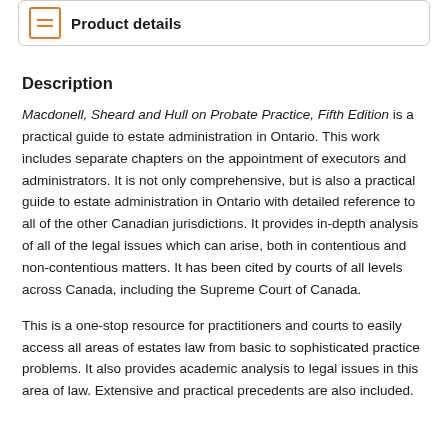Product details
Description
Macdonell, Sheard and Hull on Probate Practice, Fifth Edition is a practical guide to estate administration in Ontario. This work includes separate chapters on the appointment of executors and administrators. It is not only comprehensive, but is also a practical guide to estate administration in Ontario with detailed reference to all of the other Canadian jurisdictions. It provides in-depth analysis of all of the legal issues which can arise, both in contentious and non-contentious matters. It has been cited by courts of all levels across Canada, including the Supreme Court of Canada.
This is a one-stop resource for practitioners and courts to easily access all areas of estates law from basic to sophisticated practice problems. It also provides academic analysis to legal issues in this area of law. Extensive and practical precedents are also included.